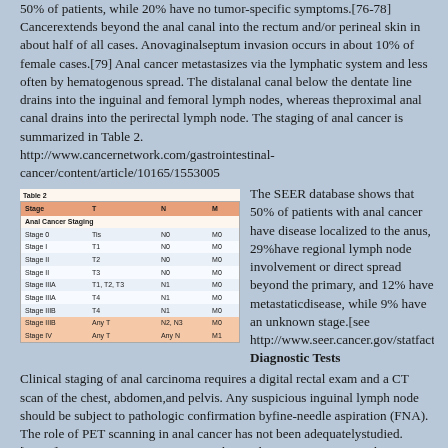50% of patients, while 20% have no tumor-specific symptoms.[76-78] Cancerextends beyond the anal canal into the rectum and/or perineal skin in about half of all cases. Anovaginalseptum invasion occurs in about 10% of female cases.[79] Anal cancer metastasizes via the lymphatic system and less often by hematogenous spread. The distalanal canal below the dentate line drains into the inguinal and femoral lymph nodes, whereas theproximal anal canal drains into the perirectal lymph node. The staging of anal cancer is summarized in Table 2. http://www.cancernetwork.com/gastrointestinal-cancer/content/article/10165/1553005
| Stage | T | N | M |
| --- | --- | --- | --- |
| Stage 0 | Tis | N0 | M0 |
| Stage I | T1 | N0 | M0 |
| Stage II | T2 | N0 | M0 |
| Stage II | T3 | N0 | M0 |
| Stage IIIA | T1, T2, T3 | N1 | M0 |
| Stage IIIA | T4 | N1 | M0 |
| Stage IIIB | T4 | N1 | M0 |
| Stage IIIB | Any T | N2, N3 | M0 |
| Stage IV | Any T | Any N | M1 |
The SEER database shows that 50% of patients with anal cancer have disease localized to the anus, 29%have regional lymph node involvement or direct spread beyond the primary, and 12% have metastaticdisease, while 9% have an unknown stage.[see http://www.seer.cancer.gov/statfacts/html/anus.html] Diagnostic Tests
Clinical staging of anal carcinoma requires a digital rectal exam and a CT scan of the chest, abdomen,and pelvis. Any suspicious inguinal lymph node should be subject to pathologic confirmation byfine-needle aspiration (FNA). The role of PET scanning in anal cancer has not been adequatelystudied.[80,81] PET is superior to CT in visualizing the primary tumor, with a detection rate of 91% to98% compared to CT rates of only 58% to 76%.[80-82] Surgical series have shown that up to 44% ofmetastases occur in